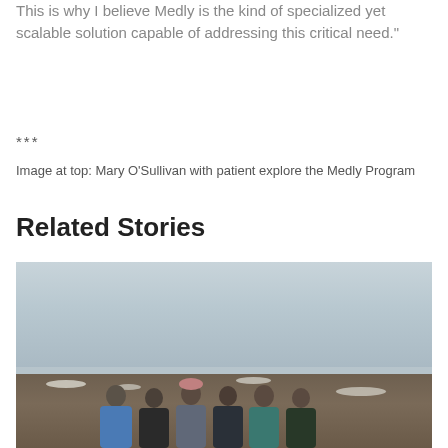This is why I believe Medly is the kind of specialized yet scalable solution capable of addressing this critical need."
***
Image at top: Mary O'Sullivan with patient explore the Medly Program
Related Stories
[Figure (photo): Group of six people standing together outdoors on a flat, open landscape under an overcast grey sky, with patches of snow on the ground.]